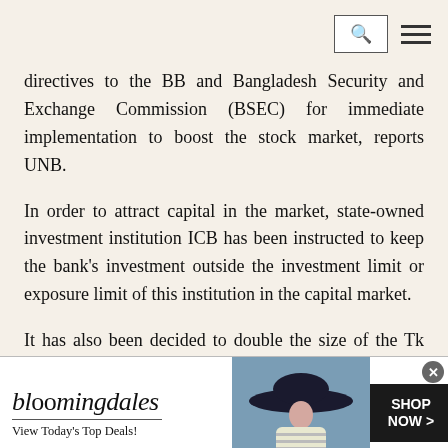[search icon] [menu icon]
directives to the BB and Bangladesh Security and Exchange Commission (BSEC) for immediate implementation to boost the stock market, reports UNB.
In order to attract capital in the market, state-owned investment institution ICB has been instructed to keep the bank's investment outside the investment limit or exposure limit of this institution in the capital market.
It has also been decided to double the size of the Tk 1.50 billion funds given to the ICB for small
[Figure (other): Bloomingdales advertisement banner. Shows 'bloomingdales View Today's Top Deals!' on the left, a woman wearing a wide-brim hat in the center, and a 'SHOP NOW >' button on the right with a close (x) button.]